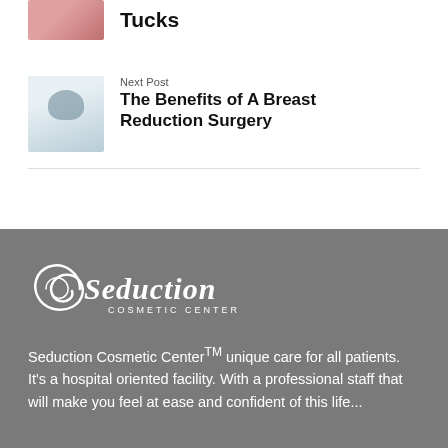Tucks
Next Post
The Benefits of A Breast Reduction Surgery
[Figure (photo): Photo of a doctor in white coat with stethoscope]
Seduction Cosmetic CenterTM unique care for all patients. It's a hospital oriented facility. With a professional staff that will make you feel at ease and confident of this life...